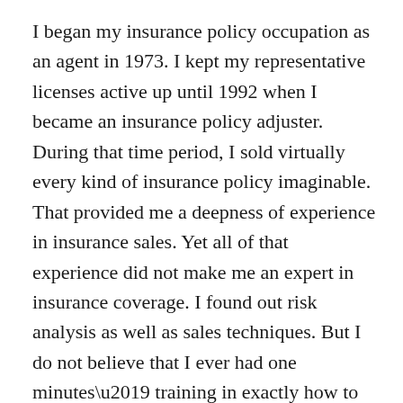I began my insurance policy occupation as an agent in 1973. I kept my representative licenses active up until 1992 when I became an insurance policy adjuster. During that time period, I sold virtually every kind of insurance policy imaginable. That provided me a deepness of experience in insurance sales. Yet all of that experience did not make me an expert in insurance coverage. I found out risk analysis as well as sales techniques. But I do not believe that I ever had one minutes’ training in exactly how to take care of a case. When my clients had a claim, I gave them the business’s phone number and told them to call it in. We periodically completed an Acord kind, which is